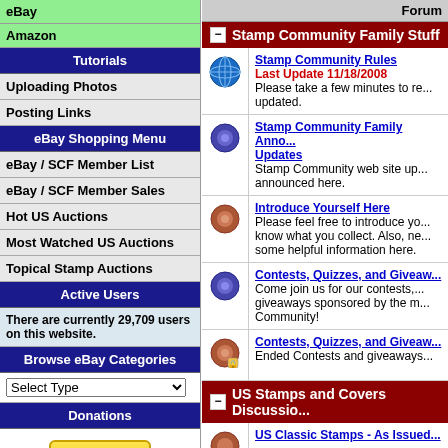eBay
Amazon
Tutorials
Uploading Photos
Posting Links
eBay Shopping Menu
eBay / SCF Member List
eBay / SCF Member Sales
Hot US Auctions
Most Watched US Auctions
Topical Stamp Auctions
Active Users
There are currently 29,709 users on this website.
Browse eBay Categories
Select Type
Donations
Donate
Forum
Stamp Community Family Stuff
Stamp Community Rules
Last Update 11/18/2008
Please take a few minutes to re... updated.
Stamp Community Family Anno... Updates
Stamp Community web site up... announced here.
Introduce Yourself Here
Please feel free to introduce yo... know what you collect. Also, ne... some helpful information here.
Contests, Quizzes, and Giveaw...
Come join us for our contests,... giveaways sponsored by the m... Community!
Contests, Quizzes, and Giveaw...
Ended Contests and giveaways...
US Stamps and Covers Discussio...
US Classic Stamps - As Issued...